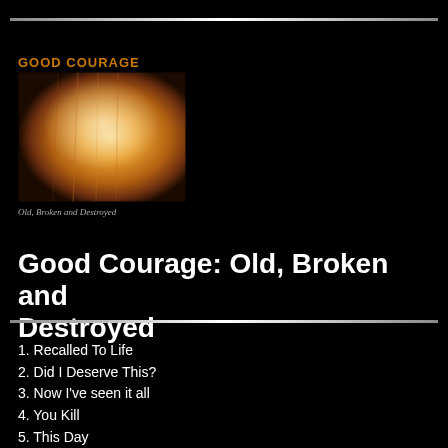GOOD COURAGE
[Figure (photo): Album cover artwork for Good Courage: Old, Broken and Destroyed — warm amber/golden tones with blurred abstract forms]
Old, Broken and Destroyed
Good Courage: Old, Broken and Destroyed
1. Recalled To Life
2. Did I Deserve This?
3. Now I've seen it all
4. You Kill
5. This Day
6. Make Me Feel
7. I'm Not There
8. The World Will Go On